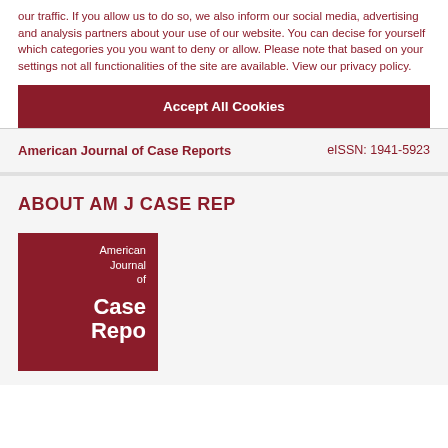our traffic. If you allow us to do so, we also inform our social media, advertising and analysis partners about your use of our website. You can decise for yourself which categories you you want to deny or allow. Please note that based on your settings not all functionalities of the site are available. View our privacy policy.
Accept All Cookies
American Journal of Case Reports
eISSN: 1941-5923
ABOUT AM J CASE REP
[Figure (logo): American Journal of Case Reports journal cover image with dark red background and white text]